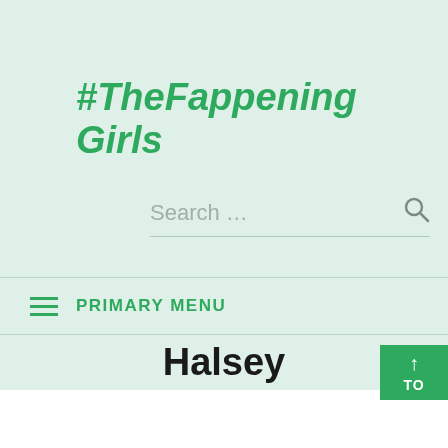#TheFappening Girls
Search ...
PRIMARY MENU
Halsey